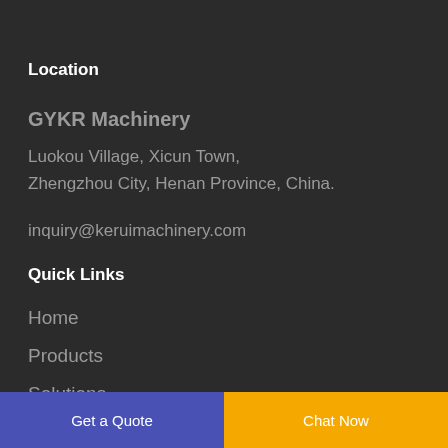Location
GYKR Machinery
Luokou Village, Xicun Town,
Zhengzhou City, Henan Province, China.
inquiry@keruimachinery.com
Quick Links
Home
Products
Solutions
Project
About
Get a Quote | Chat Now